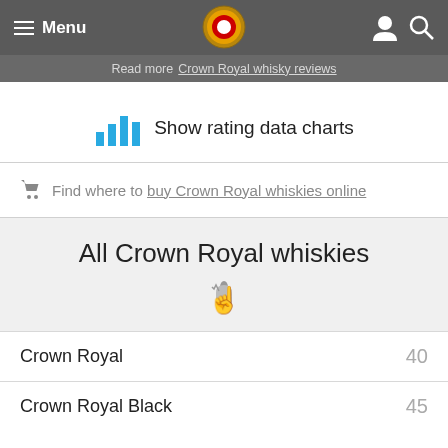Menu  [logo]  [user icon] [search icon]
Read more Crown Royal whisky reviews
Show rating data charts
Find where to buy Crown Royal whiskies online
All Crown Royal whiskies
Crown Royal  40
Crown Royal Black  45